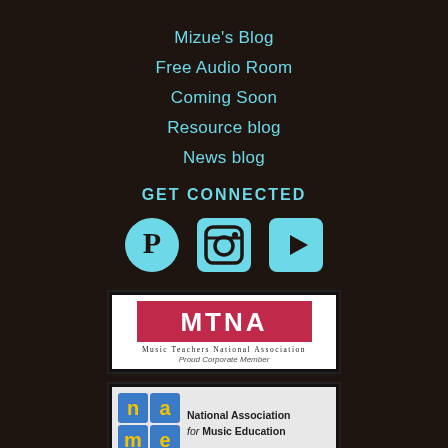Mizue's Blog
Free Audio Room
Coming Soon
Resource blog
News blog
GET CONNECTED
[Figure (illustration): Three social media icons in cyan: Pinterest (P circle), Instagram (camera), YouTube (play button in rounded rectangle)]
[Figure (logo): MTNA - Music Teachers National Association, Proud Corporate Member badge]
[Figure (logo): NAfME - National Association for Music Education, Proud Corporate Member badge]